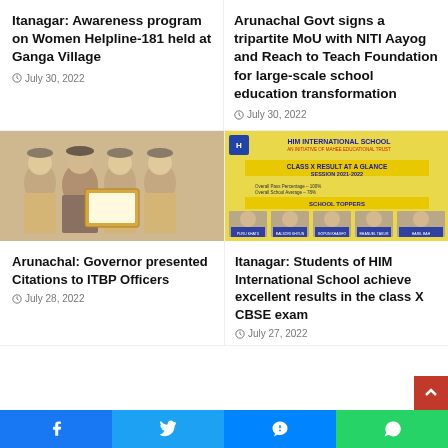Itanagar: Awareness program on Women Helpline-181 held at Ganga Village
July 30, 2022
Arunachal Govt signs a tripartite MoU with NITI Aayog and Reach to Teach Foundation for large-scale school education transformation
July 30, 2022
[Figure (photo): Group photo of police officers in uniform presenting a framed certificate]
Arunachal: Governor presented Citations to ITBP Officers
July 28, 2022
[Figure (photo): HIM International School Class X result announcement board with school toppers photos]
Itanagar: Students of HIM International School achieve excellent results in the class X CBSE exam
July 27, 2022